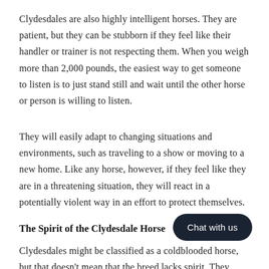Clydesdales are also highly intelligent horses. They are patient, but they can be stubborn if they feel like their handler or trainer is not respecting them. When you weigh more than 2,000 pounds, the easiest way to get someone to listen is to just stand still and wait until the other horse or person is willing to listen.
They will easily adapt to changing situations and environments, such as traveling to a show or moving to a new home. Like any horse, however, if they feel like they are in a threatening situation, they will react in a potentially violent way in an effort to protect themselves.
The Spirit of the Clydesdale Horse
Clydesdales might be classified as a coldblooded horse, but that doesn't mean that the breed lacks spirit. They have a